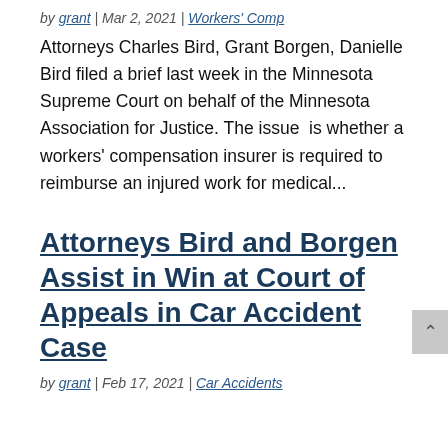by grant | Mar 2, 2021 | Workers' Comp
Attorneys Charles Bird, Grant Borgen, Danielle Bird filed a brief last week in the Minnesota Supreme Court on behalf of the Minnesota Association for Justice. The issue  is whether a workers' compensation insurer is required to reimburse an injured work for medical...
Attorneys Bird and Borgen Assist in Win at Court of Appeals in Car Accident Case
by grant | Feb 17, 2021 | Car Accidents